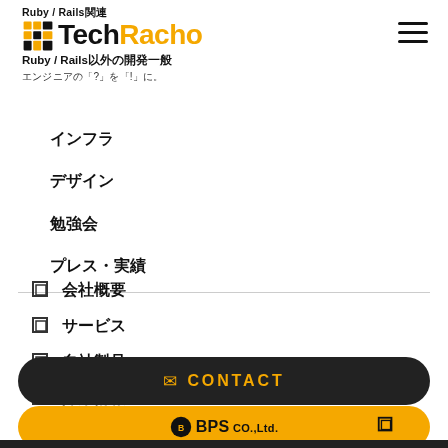Ruby / Rails関連 TechRacho Ruby / Rails以外の開発一般 エンジニアの「?」を「!」に。
インフラ
デザイン
勉強会
プレス・実績
□ 会社概要
□ サービス
□ 自社製品
□ 採用情報
CONTACT
BPS CO.,Ltd.